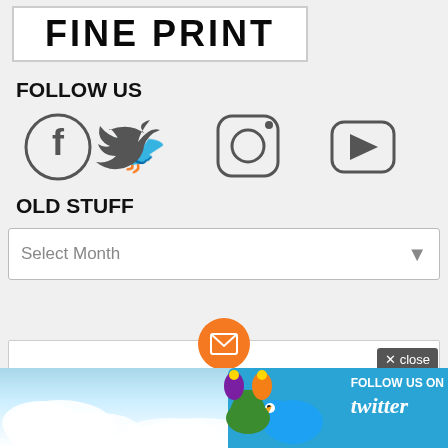[Figure (screenshot): Fine Print banner logo/header in black bold text on white background with border]
FOLLOW US
[Figure (infographic): Social media icons: Facebook, Twitter, Instagram, YouTube in dark gray]
OLD STUFF
[Figure (screenshot): Select Month dropdown widget]
[Figure (screenshot): Orange email icon circle above a white input bar with close button overlay. Below is a Twitter follow banner with a jester character, clouds, Twitter bird and 'FOLLOW US ON twitter' text.]